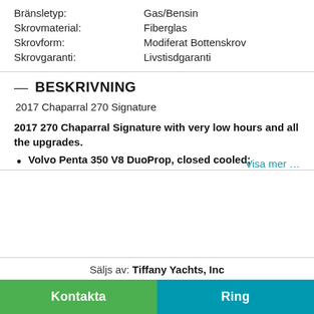Bränsletyp: Gas/Bensin
Skrovmaterial: Fiberglas
Skrovform: Modiferat Bottenskrov
Skrovgaranti: Livstisdgaranti
— BESKRIVNING
2017 Chaparral 270 Signature
2017 270 Chaparral Signature with very low hours and all the upgrades.
Volvo Penta 350 V8 DuoProp, closed cooled;
Visa mer …
Säljs av: Tiffany Yachts, Inc
Kontakta
Ring